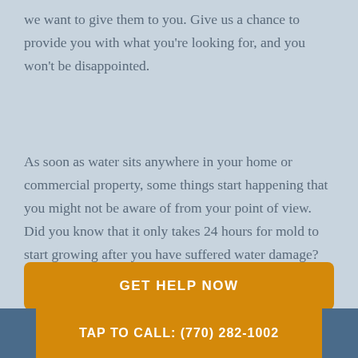we want to give them to you. Give us a chance to provide you with what you're looking for, and you won't be disappointed.
As soon as water sits anywhere in your home or commercial property, some things start happening that you might not be aware of from your point of view. Did you know that it only takes 24 hours for mold to start growing after you have suffered water damage?
GET HELP NOW
TAP TO CALL: (770) 282-1002